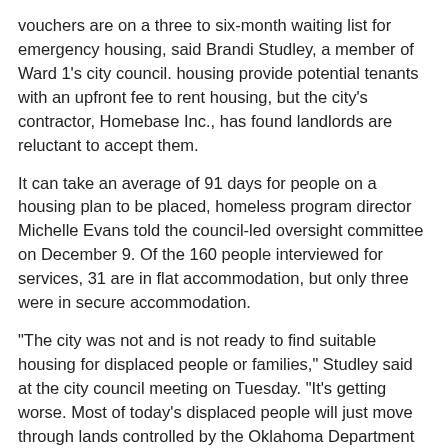vouchers are on a three to six-month waiting list for emergency housing, said Brandi Studley, a member of Ward 1's city council. housing provide potential tenants with an upfront fee to rent housing, but the city's contractor, Homebase Inc., has found landlords are reluctant to accept them.
It can take an average of 91 days for people on a housing plan to be placed, homeless program director Michelle Evans told the council-led oversight committee on December 9. Of the 160 people interviewed for services, 31 are in flat accommodation, but only three were in secure accommodation.
“The city was not and is not ready to find suitable housing for displaced people or families,” Studley said at the city council meeting on Tuesday. “It’s getting worse. Most of today’s displaced people will just move through lands controlled by the Oklahoma Department of Transportation. Sadly, Michelle Evans has also pressured ODOT to clear this land. ground.
â€œit is clear to me that the town of Norman has no intention of finding accommodation for these people. The plan appears to be that they will be evicted, most likely in the coldest part of the